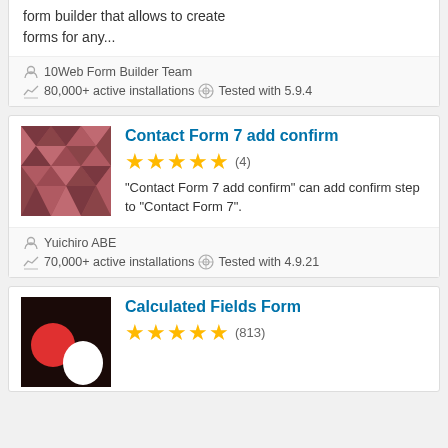form builder that allows to create forms for any...
10Web Form Builder Team
80,000+ active installations  Tested with 5.9.4
Contact Form 7 add confirm
★★★★★ (4)
"Contact Form 7 add confirm" can add confirm step to "Contact Form 7".
Yuichiro ABE
70,000+ active installations  Tested with 4.9.21
Calculated Fields Form
★★★★★ (813)